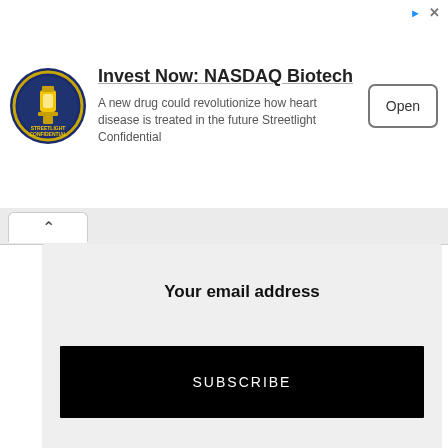[Figure (logo): Streetlight Confidential circular badge logo with yellow lantern on dark blue background]
Invest Now: NASDAQ Biotech
A new drug could revolutionize how heart disease is treated in the future Streetlight Confidential
Open
Your email address
SUBSCRIBE
[Figure (infographic): Facebook share button (dark blue with 'f' icon)]
[Figure (infographic): Twitter share button (light blue with bird icon)]
[Figure (infographic): Reddit share button (orange/pink with alien icon)]